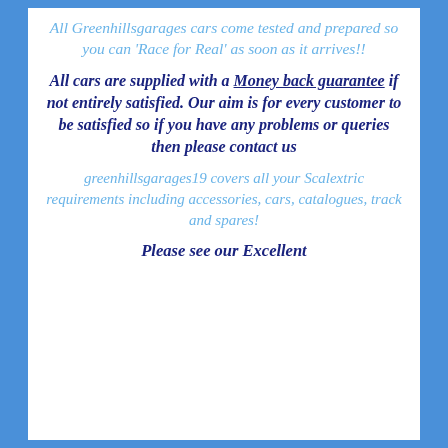All Greenhillsgarages cars come tested and prepared so you can 'Race for Real' as soon as it arrives!!
All cars are supplied with a Money back guarantee if not entirely satisfied. Our aim is for every customer to be satisfied so if you have any problems or queries then please contact us
greenhillsgarages19 covers all your Scalextric requirements including accessories, cars, catalogues, track and spares!
Please see our Excellent